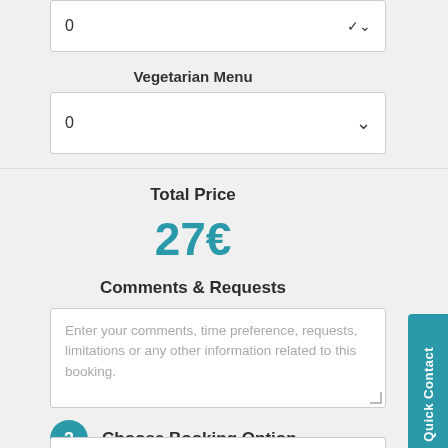0
Vegetarian Menu
0
Total Price
27€
Comments & Requests
Enter your comments, time preference, requests, limitations or any other information related to this booking.
2  Choose Booking Option